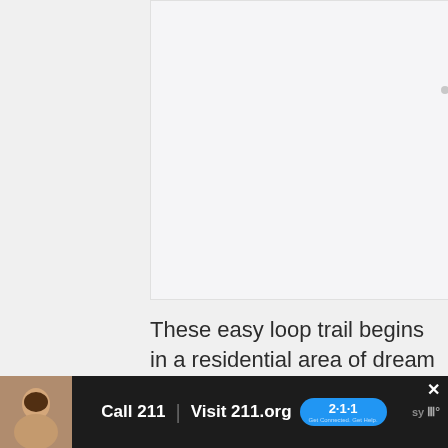[Figure (photo): Large image placeholder area with light gray background, showing three small gray dots near top center (image carousel indicator)]
These easy loop trail begins in a residential area of dream houses, following a few branches of Bow River
[Figure (infographic): Advertisement bar at bottom: photo of a child on left, 'Call 211 | Visit 211.org' text with 2-1-1 badge logo, close button X, weather/app icons on right, dark background]